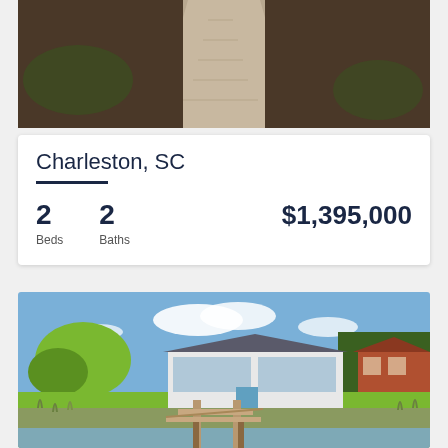[Figure (photo): Aerial or overhead view of a gravel/dirt driveway surrounded by landscaping and mulched garden beds]
Charleston, SC
2 Beds   2 Baths   $1,395,000
[Figure (photo): Exterior photo of a white two-story waterfront home with a boat dock in the foreground, large tree on the left, green lawn, and neighboring brick house on the right, under blue sky with clouds]